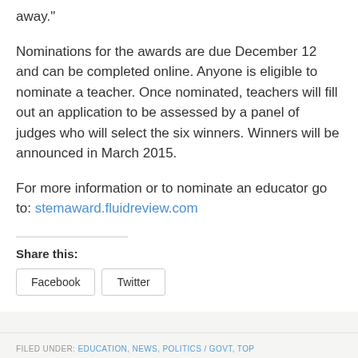away."
Nominations for the awards are due December 12 and can be completed online. Anyone is eligible to nominate a teacher. Once nominated, teachers will fill out an application to be assessed by a panel of judges who will select the six winners. Winners will be announced in March 2015.
For more information or to nominate an educator go to: stemaward.fluidreview.com
Share this:
Facebook   Twitter
FILED UNDER: EDUCATION, NEWS, POLITICS / GOVT, TOP